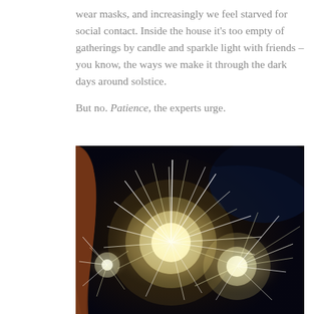wear masks, and increasingly we feel starved for social contact. Inside the house it's too empty of gatherings by candle and sparkle light with friends – you know, the ways we make it through the dark days around solstice.

But no. Patience, the experts urge.
[Figure (photo): A dark nighttime photograph showing bright sparklers being held, with glowing white sparks radiating outward. A person's hair is visible on the left side of the image.]